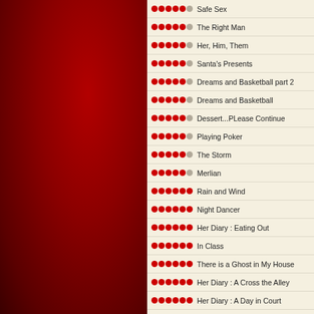Safe Sex
The Right Man
Her, Him, Them
Santa's Presents
Dreams and Basketball part 2
Dreams and Basketball
Dessert...PLease Continue
Playing Poker
The Storm
Merlian
Rain and Wind
Night Dancer
Her Diary : Eating Out
In Class
There is a Ghost in My House
Her Diary : A Cross the Alley
Her Diary : A Day in Court
Her Diary: The Elevator
Her Diary: The Subway
The Energizer Bunny and Little Blue
The Dance
The Mistress of Rose Plantation Par